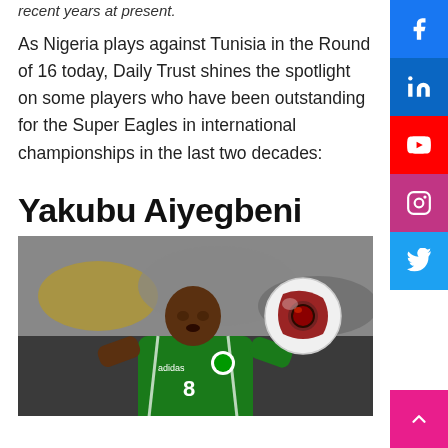recent years at present.
As Nigeria plays against Tunisia in the Round of 16 today, Daily Trust shines the spotlight on some players who have been outstanding for the Super Eagles in international championships in the last two decades:
Yakubu Aiyegbeni
[Figure (photo): Yakubu Aiyegbeni in Nigerian Super Eagles green jersey number 8, heading a Jabulani football. Action shot from an international match.]